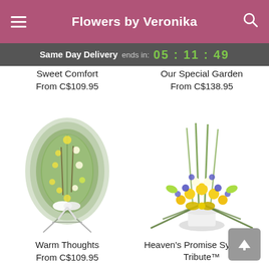Flowers by Veronika
Same Day Delivery ends in: 05 : 11 : 49
Sweet Comfort
From C$109.95
Our Special Garden
From C$138.95
[Figure (photo): Green and yellow floral spray arrangement on a white easel stand with white ribbon]
Warm Thoughts
From C$109.95
[Figure (photo): Yellow, white and purple flower basket arrangement with tall green stems in white vase]
Heaven's Promise Sympathy Tribute™